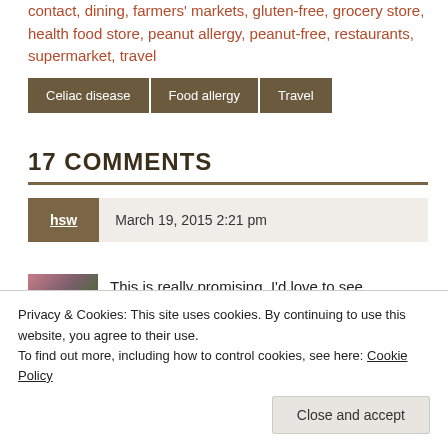contact, dining, farmers' markets, gluten-free, grocery store, health food store, peanut allergy, peanut-free, restaurants, supermarket, travel
Celiac disease
Food allergy
Travel
17 COMMENTS
hsw   March 19, 2015 2:21 pm
This is really promising, I'd love to see
Privacy & Cookies: This site uses cookies. By continuing to use this website, you agree to their use.
To find out more, including how to control cookies, see here: Cookie Policy